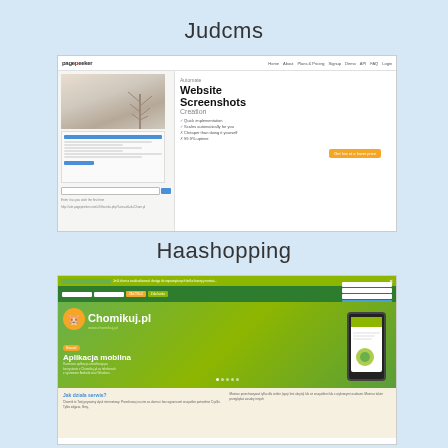Judcms
[Figure (screenshot): Screenshot of PagePeeker website showing 'Automate Website Screenshots Creation' with features list and orange CTA button]
Haashopping
[Figure (screenshot): Screenshot of Chomikuj.pl website showing green header with mobile app section ('Aplikacja mobilna') and 'Jak działa serwis?' section below]